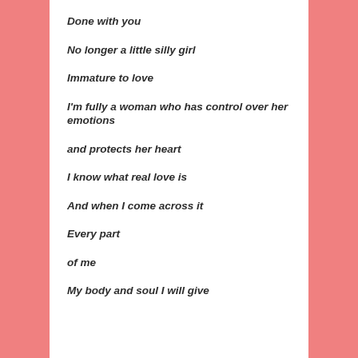Done with you
No longer a little silly girl
Immature to love
I'm fully a woman who has control over her emotions
and protects her heart
I know what real love is
And when I come across it
Every part
of me
My body and soul I will give